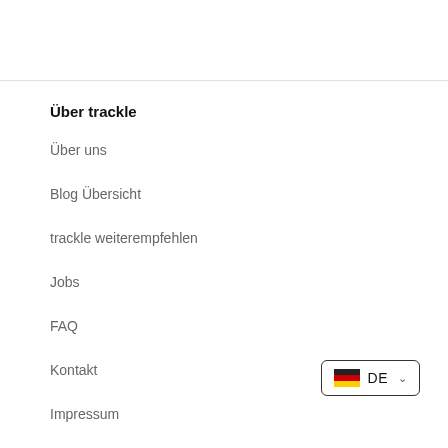Über trackle
Über uns
Blog Übersicht
trackle weiterempfehlen
Jobs
FAQ
Kontakt
Impressum
[Figure (other): German language selector button with DE flag and chevron]